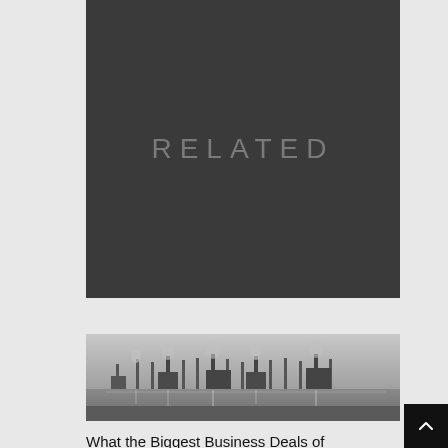[Figure (illustration): Dark gray rectangular block with the word RELATED displayed in light gray thin uppercase letters centered in the lower portion of the block]
[Figure (photo): Black and white photograph of an industrial waterfront scene with smokestacks and factory facilities reflected in water, foggy/misty atmosphere]
What the Biggest Business Deals of 2019 Tell Us About